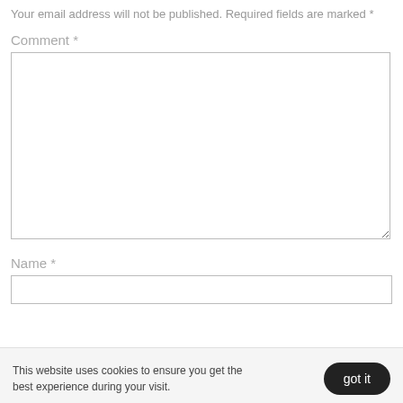Your email address will not be published. Required fields are marked *
Comment *
Name *
This website uses cookies to ensure you get the best experience during your visit.